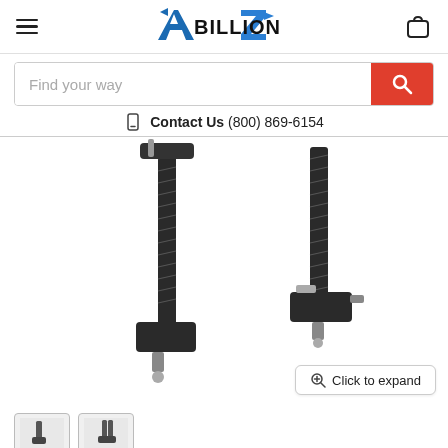[Figure (logo): ABillionZ logo with blue A and Z arrows and black BILLION text]
[Figure (photo): Two black metal C-clamp style spring compressor tools with threaded rods and bolt hardware on white background]
Find your way
Contact Us  (800) 869-6154
Click to expand